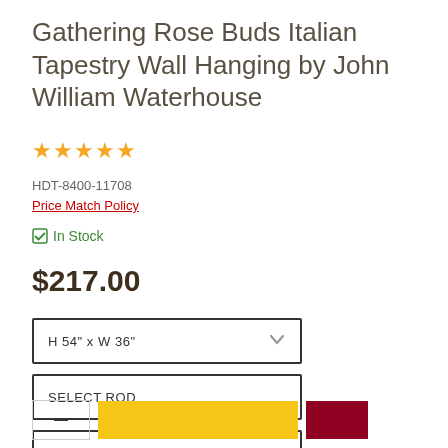Gathering Rose Buds Italian Tapestry Wall Hanging by John William Waterhouse
★★★★★
HDT-8400-11708
Price Match Policy
✓ In Stock
$217.00
H 54" x W 36"
SELECT ROD
SELECT TASSELS